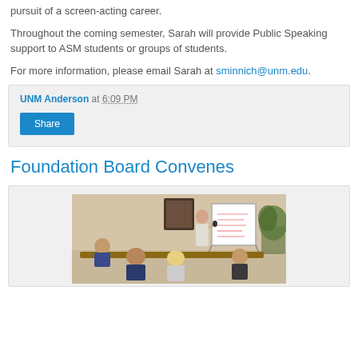pursuit of a screen-acting career.
Throughout the coming semester, Sarah will provide Public Speaking support to ASM students or groups of students.
For more information, please email Sarah at sminnich@unm.edu.
UNM Anderson at 6:09 PM
Share
Foundation Board Convenes
[Figure (photo): Group meeting scene with people seated around a table and a presenter at a whiteboard/easel]